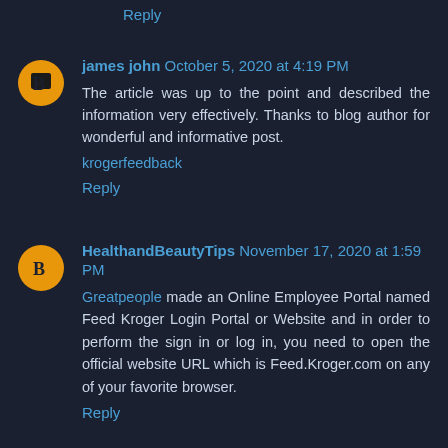Reply
james john  October 5, 2020 at 4:19 PM
The article was up to the point and described the information very effectively. Thanks to blog author for wonderful and informative post.
krogerfeedback
Reply
HealthandBeautyTips  November 17, 2020 at 1:59 PM
Greatpeople made an Online Employee Portal named Feed Kroger Login Portal or Website and in order to perform the sign in or log in, you need to open the official website URL which is Feed.Kroger.com on any of your favorite browser.
Reply